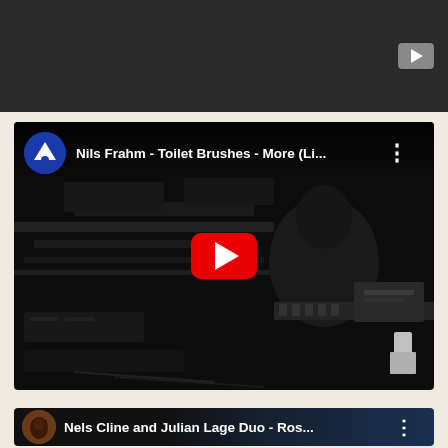[Figure (screenshot): Dark top bar with YouTube-style play button icon in gray rounded rectangle on the right side]
[Figure (screenshot): YouTube video embed showing Nils Frahm - Toilet Brushes - More (Li... with blue channel avatar, black and white photo of musician at piano/keyboard setup, red YouTube play button overlay, three-dot menu]
[Figure (screenshot): YouTube video card showing Nels Cline and Julian Lage Duo - Ros... with circular avatar showing guitarist, dark blue background]